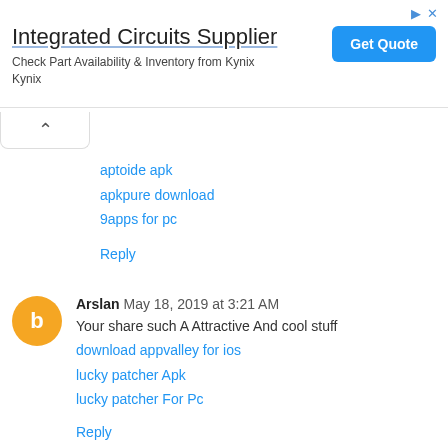[Figure (other): Ad banner for Integrated Circuits Supplier by Kynix with Get Quote button]
aptoide apk
apkpure download
9apps for pc
Reply
Arslan May 18, 2019 at 3:21 AM
Your share such A Attractive And cool stuff
download appvalley for ios
lucky patcher Apk
lucky patcher For Pc
Reply